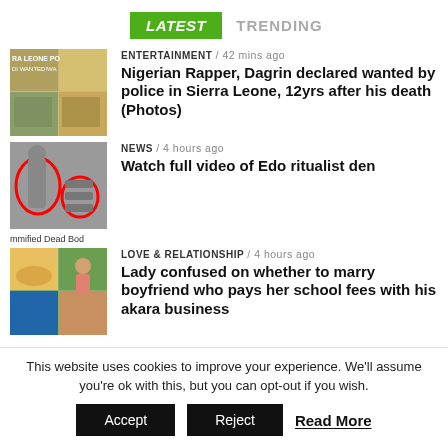LATEST   TRENDING
ENTERTAINMENT / 42 mins ago
Nigerian Rapper, Dagrin declared wanted by police in Sierra Leone, 12yrs after his death (Photos)
[Figure (photo): Collage of news article images related to Sierra Leone police wanted poster]
NEWS / 4 hours ago
Watch full video of Edo ritualist den
[Figure (photo): Image of mummified dead body related to Edo ritualist den story]
mmified Dead Bod
LOVE & RELATIONSHIP / 4 hours ago
Lady confused on whether to marry boyfriend who pays her school fees with his akara business
[Figure (photo): Collage of images related to akara business and relationship story]
This website uses cookies to improve your experience. We'll assume you're ok with this, but you can opt-out if you wish.
Accept   Reject   Read More